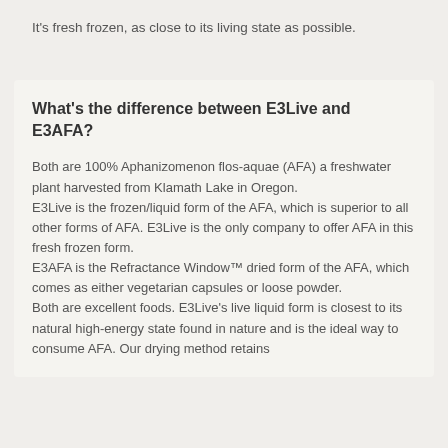It's fresh frozen, as close to its living state as possible.
What's the difference between E3Live and E3AFA?
Both are 100% Aphanizomenon flos-aquae (AFA) a freshwater plant harvested from Klamath Lake in Oregon.
E3Live is the frozen/liquid form of the AFA, which is superior to all other forms of AFA. E3Live is the only company to offer AFA in this fresh frozen form.
E3AFA is the Refractance Window™ dried form of the AFA, which comes as either vegetarian capsules or loose powder.
Both are excellent foods. E3Live's live liquid form is closest to its natural high-energy state found in nature and is the ideal way to consume AFA. Our drying method retains